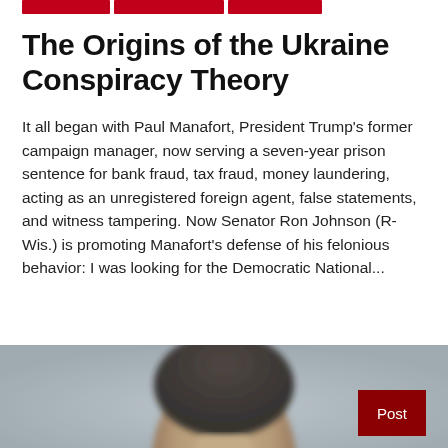The Origins of the Ukraine Conspiracy Theory
It all began with Paul Manafort, President Trump's former campaign manager, now serving a seven-year prison sentence for bank fraud, tax fraud, money laundering, acting as an unregistered foreign agent, false statements, and witness tampering. Now Senator Ron Johnson (R-Wis.) is promoting Manafort's defense of his felonious behavior: I was looking for the Democratic National...
[Figure (photo): Partial photo of a person's head/face, blurred, at the bottom of the page]